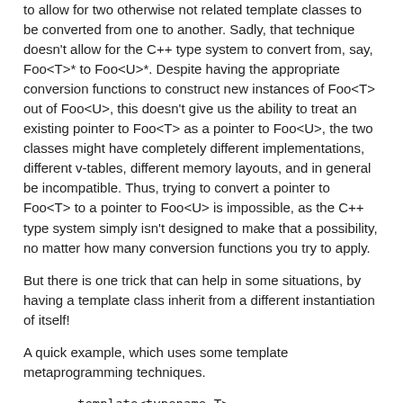to allow for two otherwise not related template classes to be converted from one to another. Sadly, that technique doesn't allow for the C++ type system to convert from, say, Foo<T>* to Foo<U>*. Despite having the appropriate conversion functions to construct new instances of Foo<T> out of Foo<U>, this doesn't give us the ability to treat an existing pointer to Foo<T> as a pointer to Foo<U>, the two classes might have completely different implementations, different v-tables, different memory layouts, and in general be incompatible. Thus, trying to convert a pointer to Foo<T> to a pointer to Foo<U> is impossible, as the C++ type system simply isn't designed to make that a possibility, no matter how many conversion functions you try to apply.
But there is one trick that can help in some situations, by having a template class inherit from a different instantiation of itself!
A quick example, which uses some template metaprogramming techniques.
template<typename T>
class Foo : public boost::conditional<